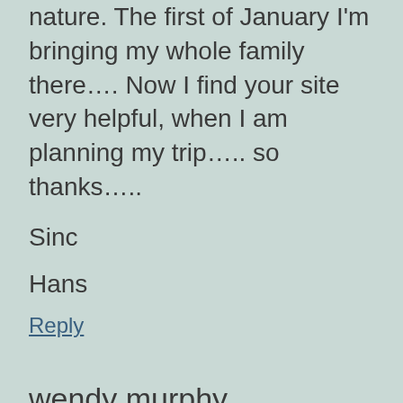nature. The first of January I'm bringing my whole family there…. Now I find your site very helpful, when I am planning my trip….. so thanks…..
Sinc
Hans
Reply
wendy murphy
August 8, 2009 at 4:49 pm